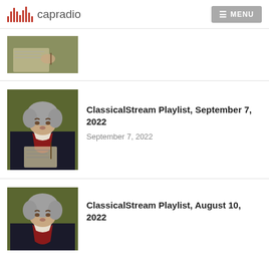capradio | MENU
[Figure (photo): Partially cropped portrait of Beethoven writing music, top of image cut off]
[Figure (photo): Portrait painting of Ludwig van Beethoven holding a pen and sheet music]
ClassicalStream Playlist, September 7, 2022
September 7, 2022
[Figure (photo): Portrait painting of Ludwig van Beethoven, partially visible at bottom of page]
ClassicalStream Playlist, August 10, 2022